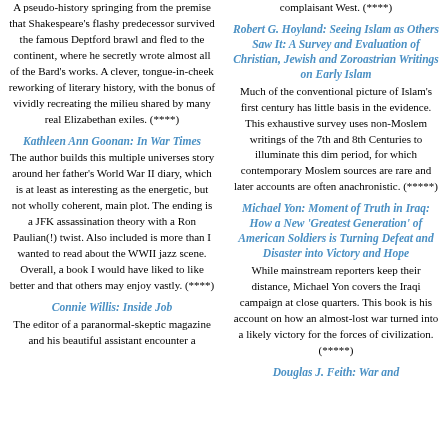A pseudo-history springing from the premise that Shakespeare's flashy predecessor survived the famous Deptford brawl and fled to the continent, where he secretly wrote almost all of the Bard's works. A clever, tongue-in-cheek reworking of literary history, with the bonus of vividly recreating the milieu shared by many real Elizabethan exiles. (****)
Kathleen Ann Goonan: In War Times
The author builds this multiple universes story around her father's World War II diary, which is at least as interesting as the energetic, but not wholly coherent, main plot. The ending is a JFK assassination theory with a Ron Paulian(!) twist. Also included is more than I wanted to read about the WWII jazz scene. Overall, a book I would have liked to like better and that others may enjoy vastly. (****)
Connie Willis: Inside Job
The editor of a paranormal-skeptic magazine and his beautiful assistant encounter a
complaisant West. (****)
Robert G. Hoyland: Seeing Islam as Others Saw It: A Survey and Evaluation of Christian, Jewish and Zoroastrian Writings on Early Islam
Much of the conventional picture of Islam's first century has little basis in the evidence. This exhaustive survey uses non-Moslem writings of the 7th and 8th Centuries to illuminate this dim period, for which contemporary Moslem sources are rare and later accounts are often anachronistic. (*****)
Michael Yon: Moment of Truth in Iraq: How a New 'Greatest Generation' of American Soldiers is Turning Defeat and Disaster into Victory and Hope
While mainstream reporters keep their distance, Michael Yon covers the Iraqi campaign at close quarters. This book is his account on how an almost-lost war turned into a likely victory for the forces of civilization. (*****)
Douglas J. Feith: War and